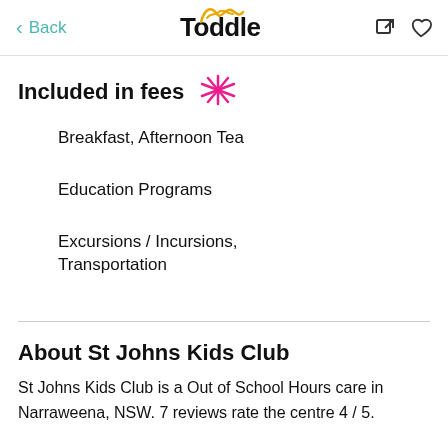Back | Toddle
Included in fees
Breakfast, Afternoon Tea
Education Programs
Excursions / Incursions, Transportation
About St Johns Kids Club
St Johns Kids Club is a Out of School Hours care in Narraweena, NSW. 7 reviews rate the centre 4 / 5.